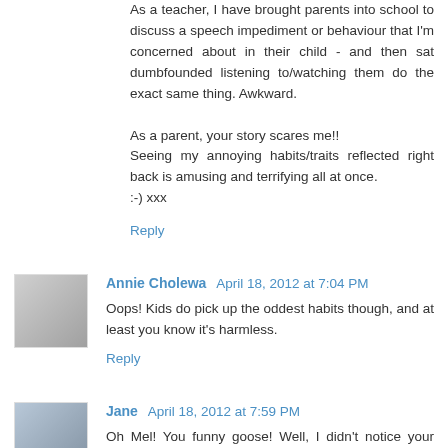As a teacher, I have brought parents into school to discuss a speech impediment or behaviour that I'm concerned about in their child - and then sat dumbfounded listening to/watching them do the exact same thing. Awkward.

As a parent, your story scares me!!
Seeing my annoying habits/traits reflected right back is amusing and terrifying all at once.
:-) xxx
Reply
Annie Cholewa  April 18, 2012 at 7:04 PM
Oops! Kids do pick up the oddest habits though, and at least you know it's harmless.
Reply
Jane  April 18, 2012 at 7:59 PM
Oh Mel! You funny goose! Well, I didn't notice your doing it the other day, if that makes you feel any better. ☺  Jx